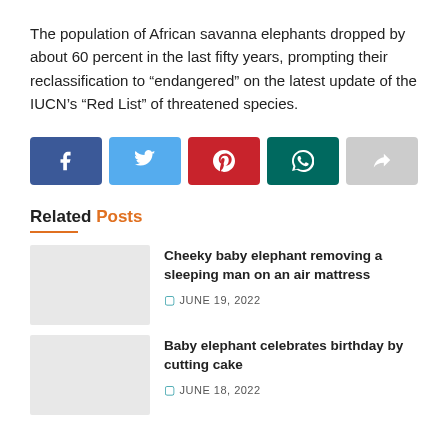The population of African savanna elephants dropped by about 60 percent in the last fifty years, prompting their reclassification to “endangered” on the latest update of the IUCN’s “Red List” of threatened species.
[Figure (other): Social media share buttons: Facebook (dark blue), Twitter (light blue), Pinterest (red), WhatsApp (teal), Share/forward (gray)]
Related Posts
[Figure (photo): Thumbnail image placeholder for related post 1]
Cheeky baby elephant removing a sleeping man on an air mattress
JUNE 19, 2022
[Figure (photo): Thumbnail image placeholder for related post 2]
Baby elephant celebrates birthday by cutting cake
JUNE 18, 2022